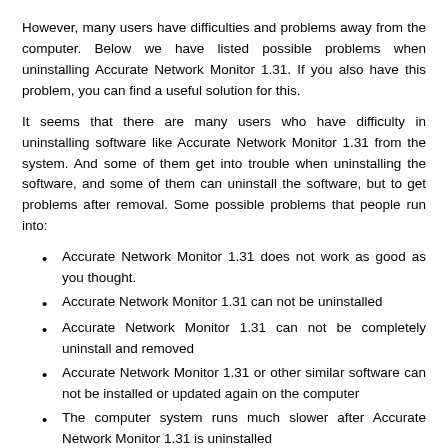However, many users have difficulties and problems away from the computer. Below we have listed possible problems when uninstalling Accurate Network Monitor 1.31. If you also have this problem, you can find a useful solution for this.
It seems that there are many users who have difficulty in uninstalling software like Accurate Network Monitor 1.31 from the system. And some of them get into trouble when uninstalling the software, and some of them can uninstall the software, but to get problems after removal. Some possible problems that people run into:
Accurate Network Monitor 1.31 does not work as good as you thought.
Accurate Network Monitor 1.31 can not be uninstalled
Accurate Network Monitor 1.31 can not be completely uninstall and removed
Accurate Network Monitor 1.31 or other similar software can not be installed or updated again on the computer
The computer system runs much slower after Accurate Network Monitor 1.31 is uninstalled
Causes of the above problems :
Accurate Network Monitor 1.31 does not appear in the program list of Add/Remove Programs
The uninstaller of Accurate Network Monitor 1.31 can not